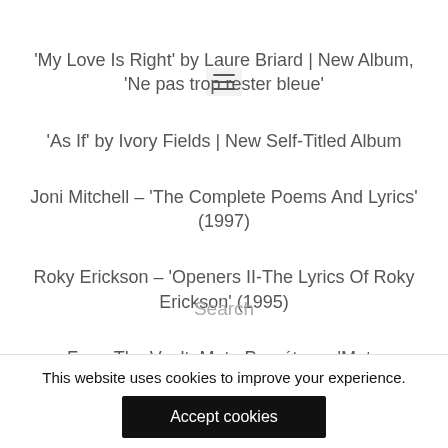'My Love Is Right' by Laure Briard | New Album, 'Ne pas trop rester bleue'
'As If' by Ivory Fields | New Self-Titled Album
Joni Mitchell – 'The Complete Poems And Lyrics' (1997)
Roky Erickson – 'Openers II-The Lyrics Of Roky Erickson' (1995)
From The Vault: Moto Perpétuo – 'Moto Perpétuo' (1974)
Search
This website uses cookies to improve your experience.
Accept cookies